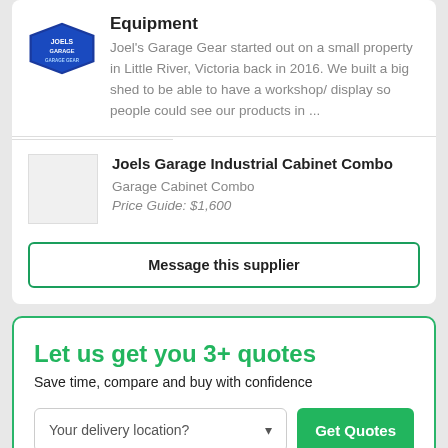[Figure (logo): Joels Garage Gear logo — blue shield shape with white text]
Equipment
Joel's Garage Gear started out on a small property in Little River, Victoria back in 2016. We built a big shed to be able to have a workshop/ display so people could see our products in ...
[Figure (photo): Product image placeholder for Joels Garage Industrial Cabinet Combo]
Joels Garage Industrial Cabinet Combo
Garage Cabinet Combo
Price Guide: $1,600
Message this supplier
Let us get you 3+ quotes
Save time, compare and buy with confidence
Your delivery location?
Get Quotes